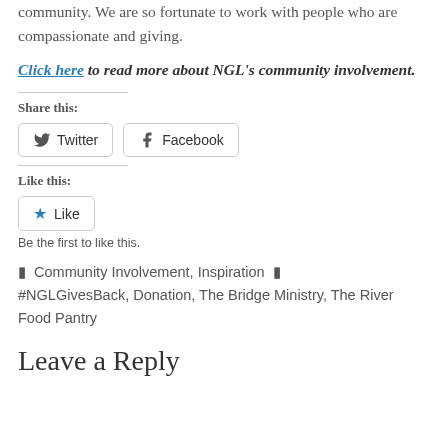community. We are so fortunate to work with people who are compassionate and giving.
Click here to read more about NGL's community involvement.
Share this:
Twitter   Facebook
Like this:
Like  Be the first to like this.
Community Involvement, Inspiration  #NGLGivesBack, Donation, The Bridge Ministry, The River Food Pantry
Leave a Reply